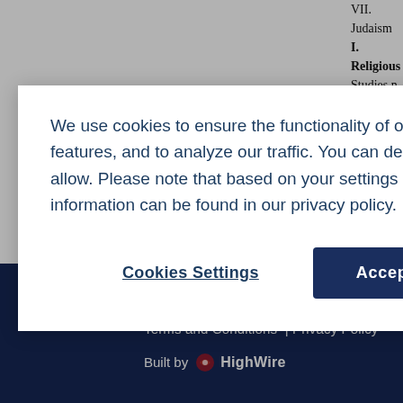VII.  Judaism I. Religious Studies n influenced strongly by the historica ru og m b
We use cookies to ensure the functionality of our website, to personalize content, to provide social media features, and to analyze our traffic. You can decide for yourself which categories you want to deny or allow. Please note that based on your settings not all functionalities of the site are available. Further information can be found in our privacy policy.  Privacy Statement
Cookies Settings
Accept All Cookies
Copyright © 2022  Terms and Conditions  | Privacy Policy  Built by  HighWire